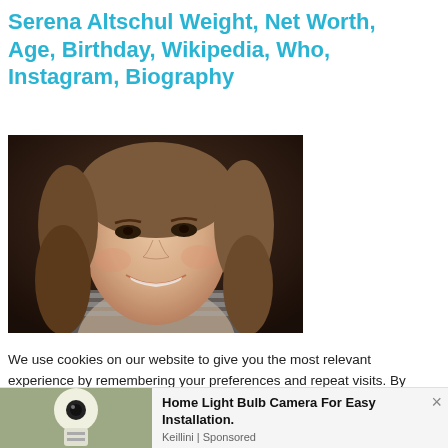Serena Altschul Weight, Net Worth, Age, Birthday, Wikipedia, Who, Instagram, Biography
[Figure (photo): Portrait photo of Serena Altschul, a woman with long brown hair smiling, wearing a striped top, dark background]
We use cookies on our website to give you the most relevant experience by remembering your preferences and repeat visits. By clicking "Accept All", you consent to the use of ALL the cookies. However, you may visit "Cookie Settings" to provide a controlled consent.
[Figure (photo): Advertisement image showing a light bulb camera]
Home Light Bulb Camera For Easy Installation.
Keillini | Sponsored